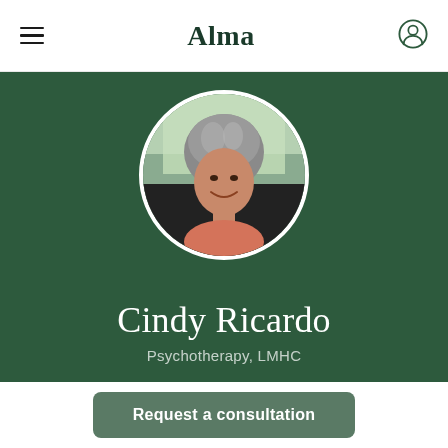Alma
[Figure (photo): Profile photo of Cindy Ricardo, an older woman with gray hair smiling, shown in a circular crop on a dark green background]
Cindy Ricardo
Psychotherapy, LMHC
Request a consultation